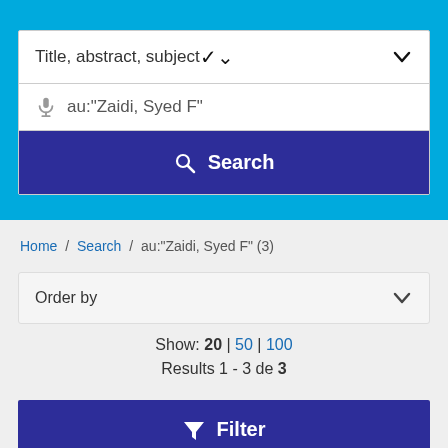Title, abstract, subject
au:"Zaidi, Syed F"
Search
Home / Search / au:"Zaidi, Syed F" (3)
Order by
Show: 20 | 50 | 100
Results 1 - 3 de 3
Filter